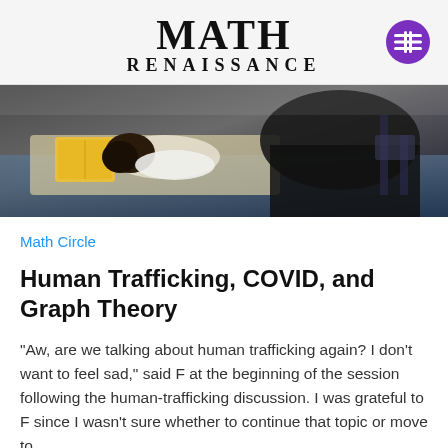MATH RENAISSANCE
[Figure (photo): Overhead view of a child with dark hair resting on a desk next to a yellow book, and another person in a dark jacket seated nearby in a classroom setting.]
Math Circle
Human Trafficking, COVID, and Graph Theory
“Aw, are we talking about human trafficking again? I don’t want to feel sad,” said F at the beginning of the session following the human-trafficking discussion. I was grateful to F since I wasn’t sure whether to continue that topic or move to